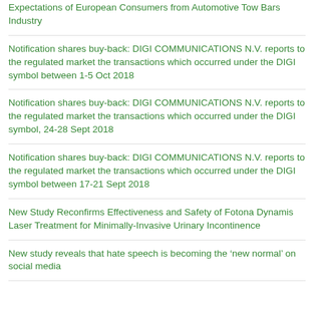Expectations of European Consumers from Automotive Tow Bars Industry
Notification shares buy-back: DIGI COMMUNICATIONS N.V. reports to the regulated market the transactions which occurred under the DIGI symbol between 1-5 Oct 2018
Notification shares buy-back: DIGI COMMUNICATIONS N.V. reports to the regulated market the transactions which occurred under the DIGI symbol, 24-28 Sept 2018
Notification shares buy-back: DIGI COMMUNICATIONS N.V. reports to the regulated market the transactions which occurred under the DIGI symbol between 17-21 Sept 2018
New Study Reconfirms Effectiveness and Safety of Fotona Dynamis Laser Treatment for Minimally-Invasive Urinary Incontinence
New study reveals that hate speech is becoming the ‘new normal’ on social media